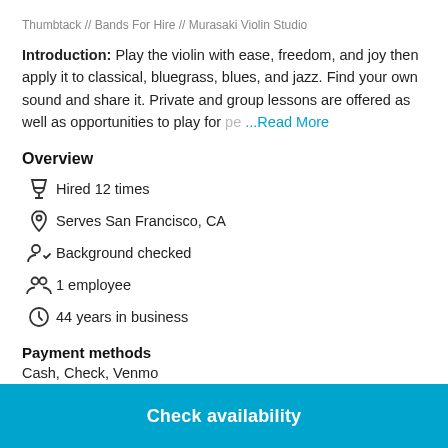Thumbtack // Bands For Hire // Murasaki Violin Studio
Introduction: Play the violin with ease, freedom, and joy then apply it to classical, bluegrass, blues, and jazz. Find your own sound and share it. Private and group lessons are offered as well as opportunities to play for pe ...Read More
Overview
Hired 12 times
Serves San Francisco, CA
Background checked
1 employee
44 years in business
Payment methods
Cash, Check, Venmo
Check availability